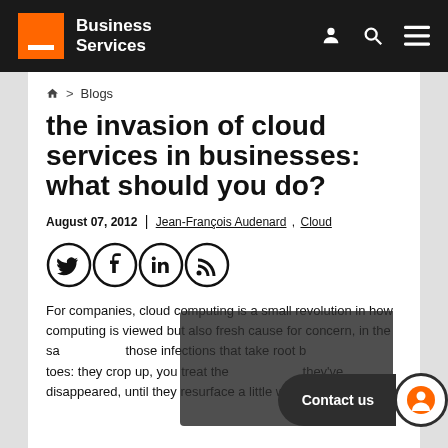Business Services
🏠 > Blogs
the invasion of cloud services in businesses: what should you do?
August 07, 2012 | Jean-François Audenard , Cloud
[Figure (infographic): Social media share icons: Twitter, Facebook, LinkedIn, RSS]
For companies, cloud computing is a small revolution in how computing is viewed but also fresh cause for concern, in the same way as those infections that take root between your toes: they crop up, you treat them, you think they've disappeared, until they resurface a little while later...